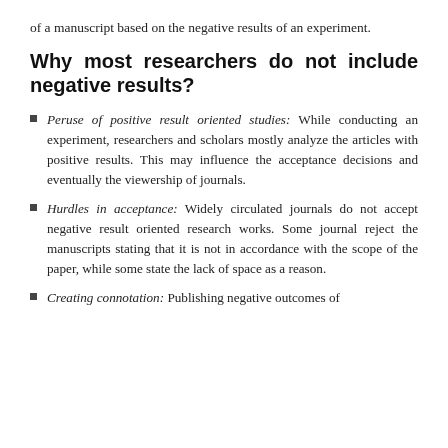of a manuscript based on the negative results of an experiment.
Why most researchers do not include negative results?
Peruse of positive result oriented studies: While conducting an experiment, researchers and scholars mostly analyze the articles with positive results. This may influence the acceptance decisions and eventually the viewership of journals.
Hurdles in acceptance: Widely circulated journals do not accept negative result oriented research works. Some journal reject the manuscripts stating that it is not in accordance with the scope of the paper, while some state the lack of space as a reason.
Creating connotation: Publishing negative outcomes of